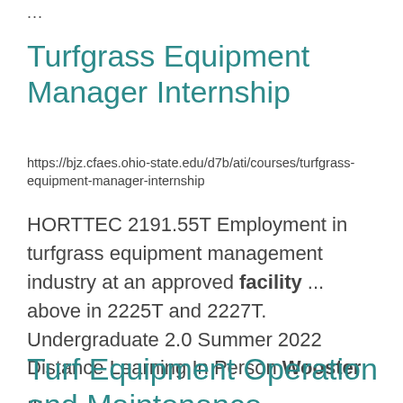...
Turfgrass Equipment Manager Internship
https://bjz.cfaes.ohio-state.edu/d7b/ati/courses/turfgrass-equipment-manager-internship
HORTTEC 2191.55T Employment in turfgrass equipment management industry at an approved facility ... above in 2225T and 2227T. Undergraduate 2.0 Summer 2022 Distance Learning In Person Wooster ...
Turf Equipment Operation and Maintenance